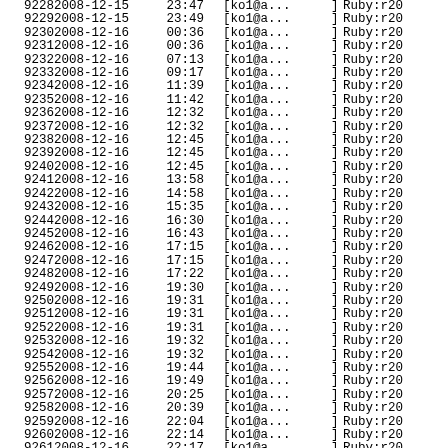| # | Date | Time | User |  | Branch |
| --- | --- | --- | --- | --- | --- |
| 9228 | 2008-12-15 | 23:47 | [ko1@a... | [ | ] Ruby:r20... |
| 9229 | 2008-12-15 | 23:49 | [ko1@a... | [ | ] Ruby:r20... |
| 9230 | 2008-12-16 | 00:36 | [ko1@a... | [ | ] Ruby:r20... |
| 9231 | 2008-12-16 | 00:36 | [ko1@a... | [ | ] Ruby:r20... |
| 9232 | 2008-12-16 | 07:13 | [ko1@a... | [ | ] Ruby:r20... |
| 9233 | 2008-12-16 | 09:17 | [ko1@a... | [ | ] Ruby:r20... |
| 9234 | 2008-12-16 | 11:39 | [ko1@a... | [ | ] Ruby:r20... |
| 9235 | 2008-12-16 | 11:42 | [ko1@a... | [ | ] Ruby:r20... |
| 9236 | 2008-12-16 | 12:32 | [ko1@a... | [ | ] Ruby:r20... |
| 9237 | 2008-12-16 | 12:32 | [ko1@a... | [ | ] Ruby:r20... |
| 9238 | 2008-12-16 | 12:45 | [ko1@a... | [ | ] Ruby:r20... |
| 9239 | 2008-12-16 | 12:45 | [ko1@a... | [ | ] Ruby:r20... |
| 9240 | 2008-12-16 | 12:45 | [ko1@a... | [ | ] Ruby:r20... |
| 9241 | 2008-12-16 | 13:58 | [ko1@a... | [ | ] Ruby:r20... |
| 9242 | 2008-12-16 | 14:58 | [ko1@a... | [ | ] Ruby:r20... |
| 9243 | 2008-12-16 | 15:35 | [ko1@a... | [ | ] Ruby:r20... |
| 9244 | 2008-12-16 | 16:30 | [ko1@a... | [ | ] Ruby:r20... |
| 9245 | 2008-12-16 | 16:43 | [ko1@a... | [ | ] Ruby:r20... |
| 9246 | 2008-12-16 | 17:15 | [ko1@a... | [ | ] Ruby:r20... |
| 9247 | 2008-12-16 | 17:15 | [ko1@a... | [ | ] Ruby:r20... |
| 9248 | 2008-12-16 | 17:22 | [ko1@a... | [ | ] Ruby:r20... |
| 9249 | 2008-12-16 | 19:30 | [ko1@a... | [ | ] Ruby:r20... |
| 9250 | 2008-12-16 | 19:31 | [ko1@a... | [ | ] Ruby:r20... |
| 9251 | 2008-12-16 | 19:31 | [ko1@a... | [ | ] Ruby:r20... |
| 9252 | 2008-12-16 | 19:31 | [ko1@a... | [ | ] Ruby:r20... |
| 9253 | 2008-12-16 | 19:32 | [ko1@a... | [ | ] Ruby:r20... |
| 9254 | 2008-12-16 | 19:32 | [ko1@a... | [ | ] Ruby:r20... |
| 9255 | 2008-12-16 | 19:44 | [ko1@a... | [ | ] Ruby:r20... |
| 9256 | 2008-12-16 | 19:49 | [ko1@a... | [ | ] Ruby:r20... |
| 9257 | 2008-12-16 | 20:25 | [ko1@a... | [ | ] Ruby:r20... |
| 9258 | 2008-12-16 | 20:39 | [ko1@a... | [ | ] Ruby:r20... |
| 9259 | 2008-12-16 | 22:04 | [ko1@a... | [ | ] Ruby:r20... |
| 9260 | 2008-12-16 | 22:14 | [ko1@a... | [ | ] Ruby:r20... |
| 9261 | 2008-12-16 | 22:17 | [ko1@a... | [ | ] Ruby:r20... |